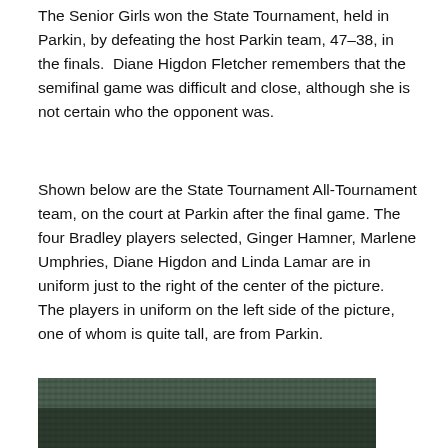The Senior Girls won the State Tournament, held in Parkin, by defeating the host Parkin team, 47–38, in the finals.  Diane Higdon Fletcher remembers that the semifinal game was difficult and close, although she is not certain who the opponent was.
Shown below are the State Tournament All-Tournament team, on the court at Parkin after the final game. The four Bradley players selected, Ginger Hamner, Marlene Umphries, Diane Higdon and Linda Lamar are in uniform just to the right of the center of the picture.  The players in uniform on the left side of the picture, one of whom is quite tall, are from Parkin.
[Figure (photo): Black and white photograph of a large group of people on a basketball court, presumably the State Tournament All-Tournament team at Parkin after the final game. Players in uniform are visible among a crowd.]